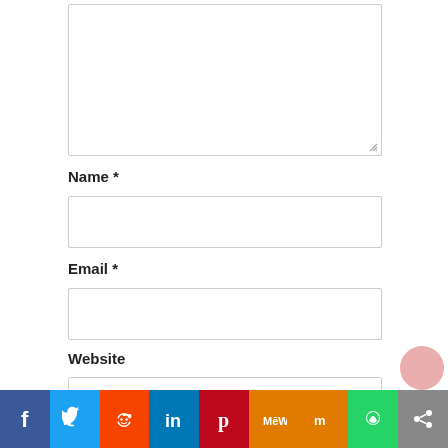[Figure (screenshot): A text area input box (empty, resizable), part of a web comment form.]
Name *
[Figure (screenshot): Name input field (empty text box).]
Email *
[Figure (screenshot): Email input field (empty text box).]
Website
[Figure (screenshot): Website input field (empty text box).]
Save my name, email, and website in this browser for the next time I comment.
[Figure (infographic): Social sharing bar with icons: Facebook (blue), Twitter (light blue), Reddit (orange), LinkedIn (dark blue), Pinterest (red), MeWe (orange), Mix (orange), WhatsApp (green), Share (gray).]